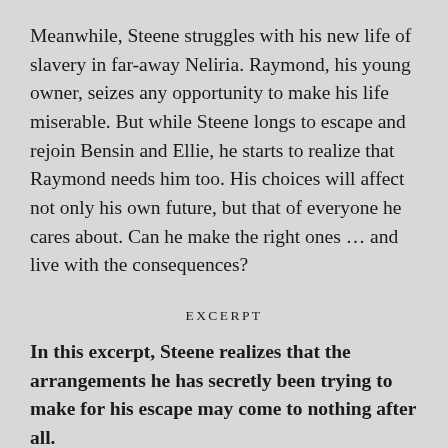Meanwhile, Steene struggles with his new life of slavery in far-away Neliria. Raymond, his young owner, seizes any opportunity to make his life miserable. But while Steene longs to escape and rejoin Bensin and Ellie, he starts to realize that Raymond needs him too. His choices will affect not only his own future, but that of everyone he cares about. Can he make the right ones … and live with the consequences?
EXCERPT
In this excerpt, Steene realizes that the arrangements he has secretly been trying to make for his escape may come to nothing after all.
“Guess what? I’ve got two pieces of good news,” said